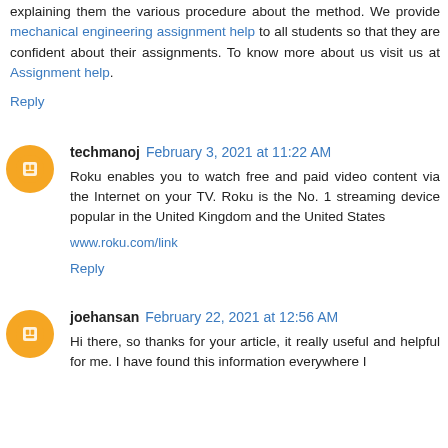explaining them the various procedure about the method. We provide mechanical engineering assignment help to all students so that they are confident about their assignments. To know more about us visit us at Assignment help.
Reply
techmanoj February 3, 2021 at 11:22 AM
Roku enables you to watch free and paid video content via the Internet on your TV. Roku is the No. 1 streaming device popular in the United Kingdom and the United States
www.roku.com/link
Reply
joehansan February 22, 2021 at 12:56 AM
Hi there, so thanks for your article, it really useful and helpful for me. I have found this information everywhere I